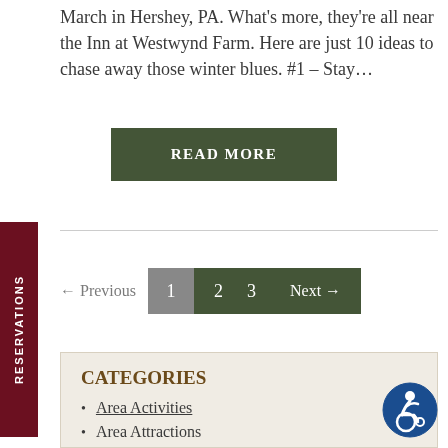March in Hershey, PA. What's more, they're all near the Inn at Westwynd Farm. Here are just 10 ideas to chase away those winter blues. #1 – Stay...
READ MORE
← Previous  1  2  3  Next →
RESERVATIONS
CATEGORIES
Area Activities
Area Attractions